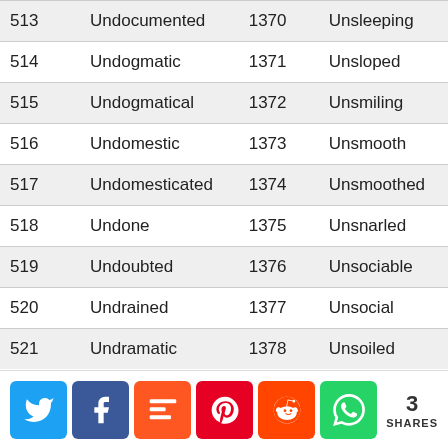| 513 | Undocumented | 1370 | Unsleeping |
| 514 | Undogmatic | 1371 | Unsloped |
| 515 | Undogmatical | 1372 | Unsmiling |
| 516 | Undomestic | 1373 | Unsmooth |
| 517 | Undomesticated | 1374 | Unsmoothed |
| 518 | Undone | 1375 | Unsnarled |
| 519 | Undoubted | 1376 | Unsociable |
| 520 | Undrained | 1377 | Unsocial |
| 521 | Undramatic | 1378 | Unsoiled |
[Figure (other): Social share buttons: Twitter, Facebook, Mix, Pinterest, Reddit, WhatsApp. Shows 3 SHARES.]